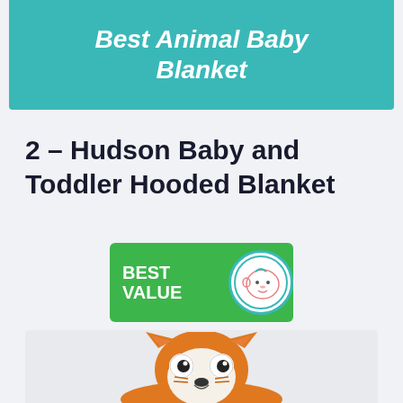Best Animal Baby Blanket
2 – Hudson Baby and Toddler Hooded Blanket
[Figure (logo): BEST VALUE badge with green background and circular baby logo on the right]
[Figure (photo): Photo of a toddler wearing an orange fox hooded blanket, showing the fox head hood with ears and face]